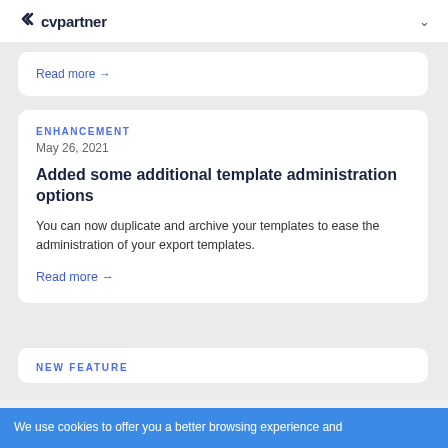cvpartner
Read more →
ENHANCEMENT
May 26, 2021
Added some additional template administration options
You can now duplicate and archive your templates to ease the administration of your export templates.
Read more →
NEW FEATURE
We use cookies to offer you a better browsing experience and